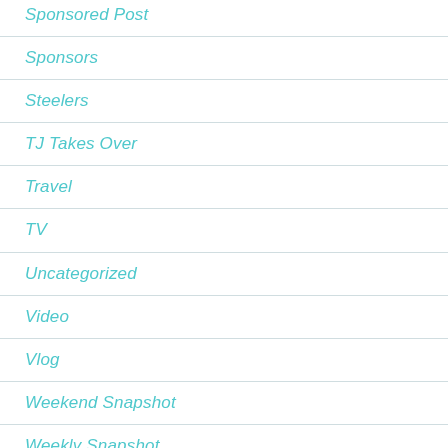Sponsored Post
Sponsors
Steelers
TJ Takes Over
Travel
TV
Uncategorized
Video
Vlog
Weekend Snapshot
Weekly Snapshot